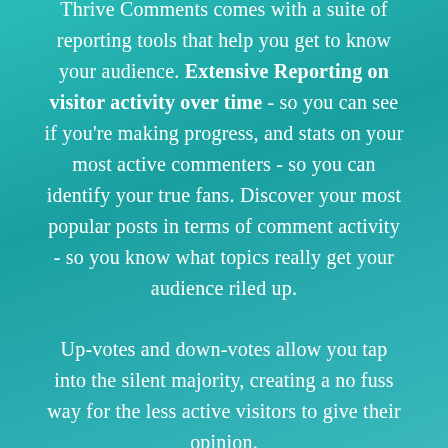Thrive Comments comes with a suite of reporting tools that help you get to know your audience. Extensive Reporting on visitor activity over time - so you can see if you're making progress, and stats on your most active commenters - so you can identify your true fans. Discover your most popular posts in terms of comment activity - so you know what topics really get your audience riled up.
Up-votes and down-votes allow you tap into the silent majority, creating a no fuss way for the less active visitors to give their opinion.